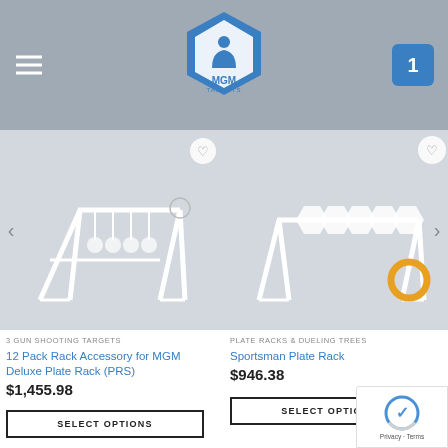MGM Targets
[Figure (photo): 12 Pack Rack Accessory for MGM Deluxe Plate Rack (PRS) - white metal shooting target rack on gray background]
3 GUN SHOOTING TARGETS
12 Pack Rack Accessory for MGM Deluxe Plate Rack (PRS)
$1,455.98
SELECT OPTIONS
[Figure (photo): Sportsman Plate Rack - white metal shooting target rack with hexagonal plates on gray background]
PLATE RACKS & DUELING TREES
Sportsman Plate Rack
$946.38
SELECT OPTIONS